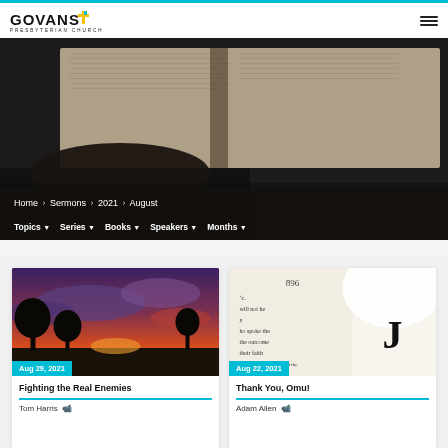GOVANS PRESBYTERIAN CHURCH
[Figure (photo): Open Bible pages close-up in dark background, showing text columns]
Home > Sermons > 2021 > August
Topics   Series   Books   Speakers   Months
[Figure (photo): Sunset landscape with dramatic orange and purple sky and silhouetted trees]
Aug 29, 2021
Fighting the Real Enemies
Tom Harris  🎥
[Figure (photo): Open book pages showing text including page 896 and partial words]
Aug 22, 2021
Thank You, Omu!
Adam Allen  🎥